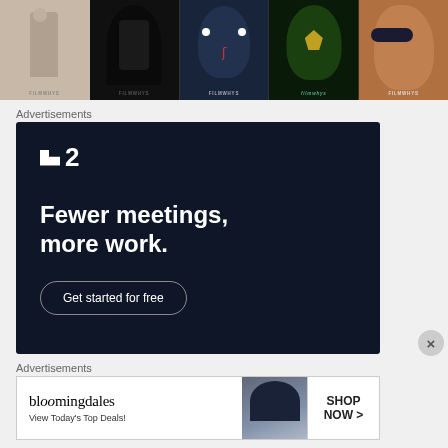[Figure (photo): Filmstrips collage showing 5 movie poster thumbnails with FILMWHYS watermark labels]
Advertisements
[Figure (screenshot): Dark navy advertisement for a project management tool showing logo ':2', headline 'Fewer meetings, more work.' and a 'Get started for free' button]
Advertisements
[Figure (screenshot): Bloomingdale's advertisement: 'View Today's Top Deals!' with SHOP NOW > button and image of woman in hat]